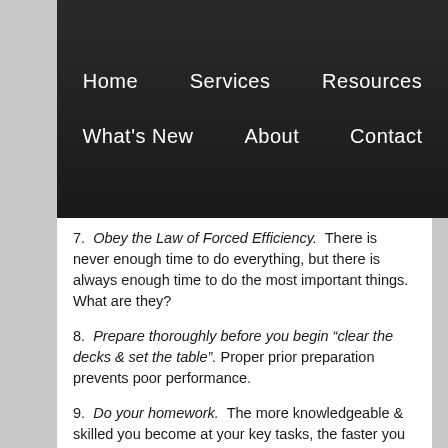Home   Services   Resources   What's New   About   Contact
7.  Obey the Law of Forced Efficiency.  There is never enough time to do everything, but there is always enough time to do the most important things. What are they?
8.  Prepare thoroughly before you begin “clear the decks & set the table”. Proper prior preparation prevents poor performance.
9.  Do your homework.  The more knowledgeable & skilled you become at your key tasks, the faster you start them & the